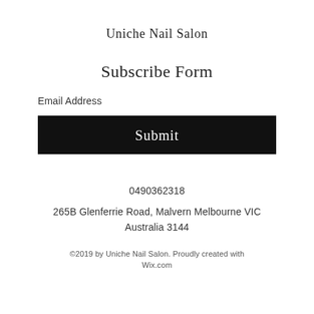Uniche Nail Salon
Subscribe Form
Email Address
Submit
0490362318
265B Glenferrie Road, Malvern Melbourne VIC
Australia 3144
©2019 by Uniche Nail Salon. Proudly created with Wix.com